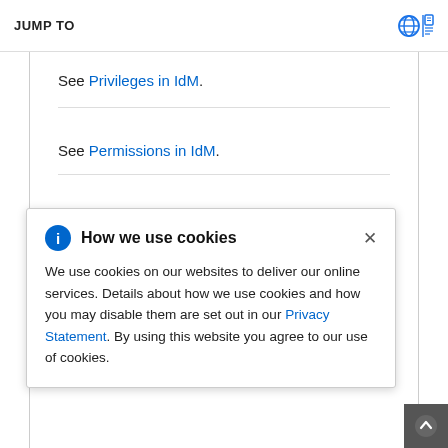JUMP TO
See Privileges in IdM.
See Permissions in IdM.
See the README-privilege file available in the /usr/share/doc/ansible-
How we use cookies

We use cookies on our websites to deliver our online services. Details about how we use cookies and how you may disable them are set out in our Privacy Statement. By using this website you agree to our use of cookies.